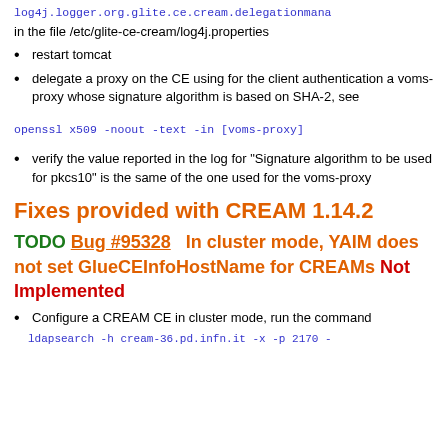log4j.logger.org.glite.ce.cream.delegationmana
in the file /etc/glite-ce-cream/log4j.properties
restart tomcat
delegate a proxy on the CE using for the client authentication a voms-proxy whose signature algorithm is based on SHA-2, see
openssl x509 -noout -text -in [voms-proxy]
verify the value reported in the log for "Signature algorithm to be used for pkcs10" is the same of the one used for the voms-proxy
Fixes provided with CREAM 1.14.2
TODO Bug #95328  In cluster mode, YAIM does not set GlueCEInfoHostName for CREAMs Not Implemented
Configure a CREAM CE in cluster mode, run the command
ldapsearch -h cream-36.pd.infn.it -x -p 2170 -